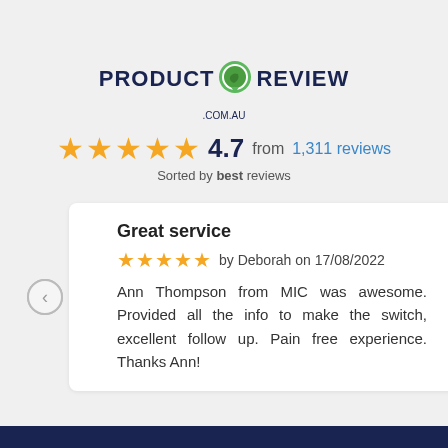[Figure (logo): ProductReview.com.au logo with green speech bubble icon]
4.7 from 1,311 reviews
Sorted by best reviews
Great service
by Deborah on 17/08/2022
Ann Thompson from MIC was awesome. Provided all the info to make the switch, excellent follow up. Pain free experience. Thanks Ann!